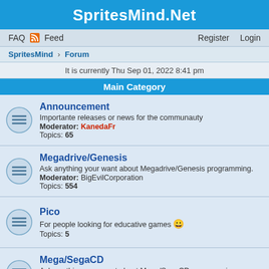SpritesMind.Net
FAQ | Feed | Register | Login
SpritesMind › Forum
It is currently Thu Sep 01, 2022 8:41 pm
Main Category
Announcement
Importante releases or news for the communauty
Moderator: KanedaFr
Topics: 65
Megadrive/Genesis
Ask anything your want about Megadrive/Genesis programming.
Moderator: BigEvilCorporation
Topics: 554
Pico
For people looking for educative games 😀
Topics: 5
Mega/SegaCD
Ask anything your want about Mega/SegaCD programming.
Moderator: Mask of Destiny
Topics: 117
Super 32X
Ask anything your want about the 32X Mushroom programming.